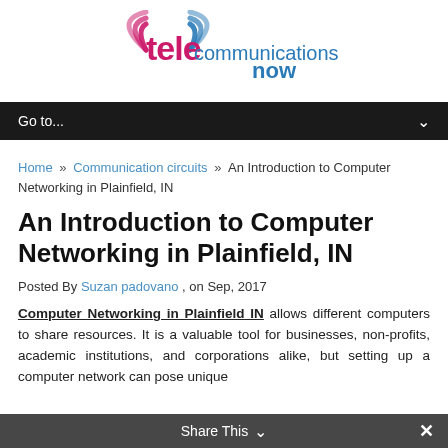[Figure (logo): Telecommunications Now logo with stylized 'tele' in pink/magenta and 'communications now' in blue/teal text]
Go to...
Home » Communication circuits » An Introduction to Computer Networking in Plainfield, IN
An Introduction to Computer Networking in Plainfield, IN
Posted By Suzan padovano , on Sep, 2017
Computer Networking in Plainfield IN allows different computers to share resources. It is a valuable tool for businesses, non-profits, academic institutions, and corporations alike, but setting up a computer network can pose unique